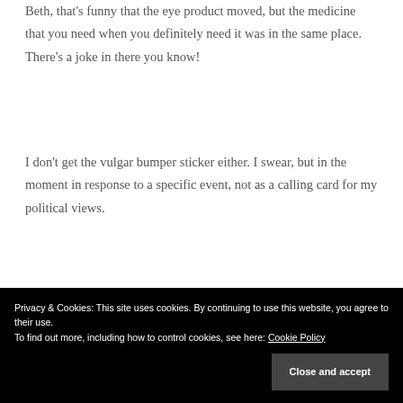Beth, that's funny that the eye product moved, but the medicine that you need when you definitely need it was in the same place. There's a joke in there you know!
I don't get the vulgar bumper sticker either. I swear, but in the moment in response to a specific event, not as a calling card for my political views.
The Latin thing would have stopped me in
Privacy & Cookies: This site uses cookies. By continuing to use this website, you agree to their use.
To find out more, including how to control cookies, see here: Cookie Policy
Close and accept